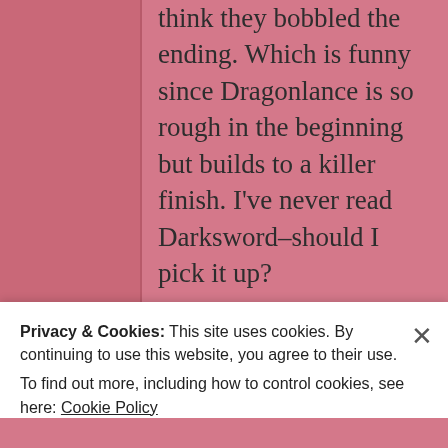think they bobbled the ending. Which is funny since Dragonlance is so rough in the beginning but builds to a killer finish. I've never read Darksword–should I pick it up?
★ Liked by 1 person
Privacy & Cookies: This site uses cookies. By continuing to use this website, you agree to their use.
To find out more, including how to control cookies, see here: Cookie Policy